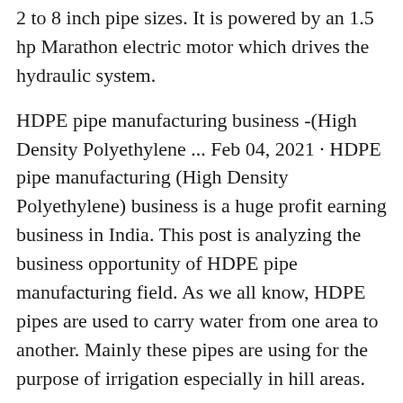2 to 8 inch pipe sizes. It is powered by an 1.5 hp Marathon electric motor which drives the hydraulic system.
HDPE pipe manufacturing business -(High Density Polyethylene ... Feb 04, 2021 · HDPE pipe manufacturing (High Density Polyethylene) business is a huge profit earning business in India. This post is analyzing the business opportunity of HDPE pipe manufacturing field. As we all know, HDPE pipes are used to carry water from one area to another. Mainly these pipes are using for the purpose of irrigation especially in hill areas.
HDPE plastic Silicon Core tube making machine_OKCHEM Advantage Description. Hdpe Plastic Silicon Core Tube Making Machine , Find Complete Details about Hdpe Plastic Silicon Core Tube Making Machine,Hdpe Silicon Core Tube Machine,Plastic Silicon Core Tube Making...